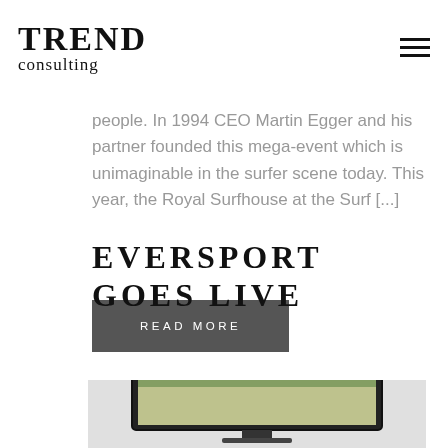TREND consulting
people. In 1994 CEO Martin Egger and his partner founded this mega-event which is unimaginable in the surfer scene today. This year, the Royal Surfhouse at the Surf [...]
READ MORE
EVERSPORT GOES LIVE
[Figure (screenshot): Screenshot of a website or application displayed on a monitor/laptop screen, showing an indoor sports hall image]